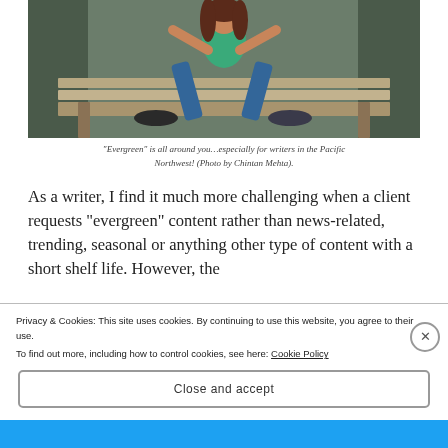[Figure (photo): A woman in a green top and blue jeans doing a stretch pose on a wooden bench outdoors, surrounded by greenery.]
“Evergreen” is all around you…especially for writers in the Pacific Northwest! (Photo by Chintan Mehta).
As a writer, I find it much more challenging when a client requests “evergreen” content rather than news-related, trending, seasonal or anything other type of content with a short shelf life. However, the
Privacy & Cookies: This site uses cookies. By continuing to use this website, you agree to their use.
To find out more, including how to control cookies, see here: Cookie Policy
Close and accept